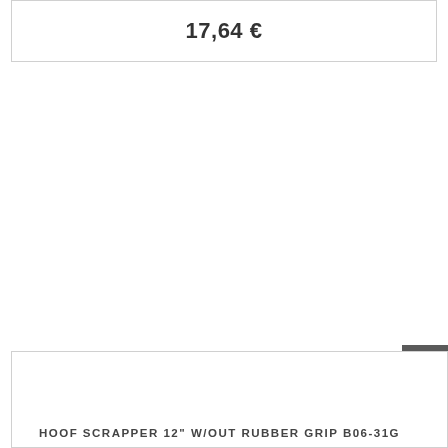17,64 €
HOOF SCRAPPER 12" W/OUT RUBBER GRIP B06-31G